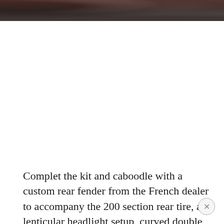[Figure (photo): Partial photo strip at top of page showing a dark, blurry motorcycle or vehicle scene with reddish and dark tones]
Complet the kit and caboodle with a custom rear fender from the French dealer to accompany the 200 section rear tire, a lenticular headlight setup, curved double exhausts, Kellerman indicators, Monza filler cap, and Klock Werks handlebars, as well as a showstopping